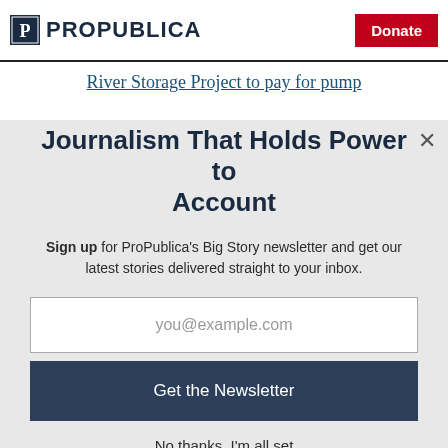ProPublica — Donate
River Storage Project to pay for pump
Journalism That Holds Power to Account
Sign up for ProPublica's Big Story newsletter and get our latest stories delivered straight to your inbox.
you@example.com
Get the Newsletter
No thanks, I'm all set
This site is protected by reCAPTCHA and the Google Privacy Policy and Terms of Service apply.